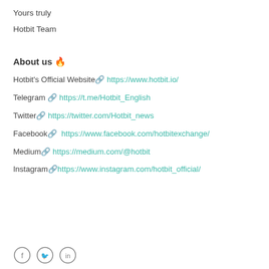Yours truly
Hotbit Team
About us 🔥
Hotbit's Official Website🔗 https://www.hotbit.io/
Telegram 🔗 https://t.me/Hotbit_English
Twitter🔗 https://twitter.com/Hotbit_news
Facebook🔗  https://www.facebook.com/hotbitexchange/
Medium🔗 https://medium.com/@hotbit
Instagram🔗https://www.instagram.com/hotbit_official/
[Figure (illustration): Social media icon circles for Facebook, Twitter, and LinkedIn at the bottom of the page]